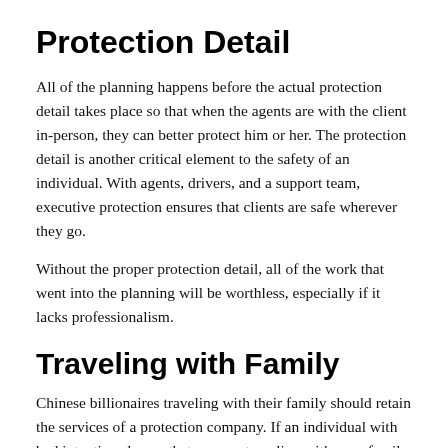Protection Detail
All of the planning happens before the actual protection detail takes place so that when the agents are with the client in-person, they can better protect him or her. The protection detail is another critical element to the safety of an individual. With agents, drivers, and a support team, executive protection ensures that clients are safe wherever they go.
Without the proper protection detail, all of the work that went into the planning will be worthless, especially if it lacks professionalism.
Traveling with Family
Chinese billionaires traveling with their family should retain the services of a protection company. If an individual with bad intentions learns that you are traveling with your family, they may take it upon themselves to use your family to get to